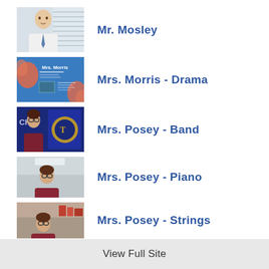[Figure (photo): Thumbnail photo of Mr. Mosley, a man in a white shirt and tie]
Mr. Mosley
[Figure (photo): Thumbnail image for Mrs. Morris - Drama, showing a blue presentation slide with coral floral design]
Mrs. Morris - Drama
[Figure (photo): Thumbnail photo of Mrs. Posey in front of a blue banner with crest, for Band]
Mrs. Posey - Band
[Figure (photo): Thumbnail photo of Mrs. Posey for Piano class]
Mrs. Posey - Piano
[Figure (photo): Thumbnail photo of Mrs. Posey for Strings class, partially cropped]
Mrs. Posey - Strings
View Full Site